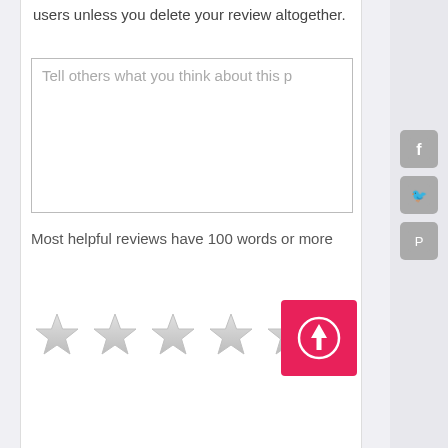users unless you delete your review altogether.
[Figure (screenshot): Text area input box with placeholder text 'Tell others what you think about this p...']
Most helpful reviews have 100 words or more
[Figure (other): Five empty/unrated star icons for rating input]
[Figure (other): Pink upload/submit button with upward arrow icon]
[Figure (other): Social media sidebar icons: Facebook, Twitter, Pinterest]